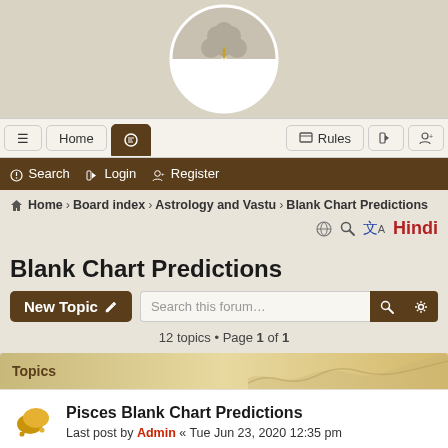[Figure (logo): Circular logo with a tree (roots and canopy) in white on dark background with a yellow teardrop shape, set against a beige/tan background]
≡  Home  [chat icon]  Rules  [login icon]  [register icon]
🔍 Search  ➡ Login  👤+ Register
Home › Board index › Astrology and Vastu › Blank Chart Predictions
🌐 🔍 Hindi
Blank Chart Predictions
New Topic ✏  Search this forum... 🔍 ⚙
12 topics • Page 1 of 1
Topics
Pisces Blank Chart Predictions
Last post by Admin « Tue Jun 23, 2020 12:35 pm